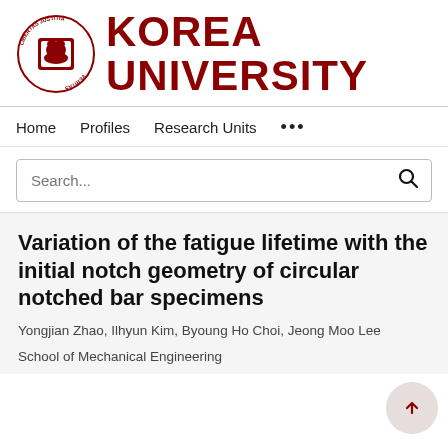[Figure (logo): Korea University logo with circular emblem and bold red KOREA UNIVERSITY wordmark]
Home   Profiles   Research Units   ...
Search...
Variation of the fatigue lifetime with the initial notch geometry of circular notched bar specimens
Yongjian Zhao, Ilhyun Kim, Byoung Ho Choi, Jeong Moo Lee
School of Mechanical Engineering